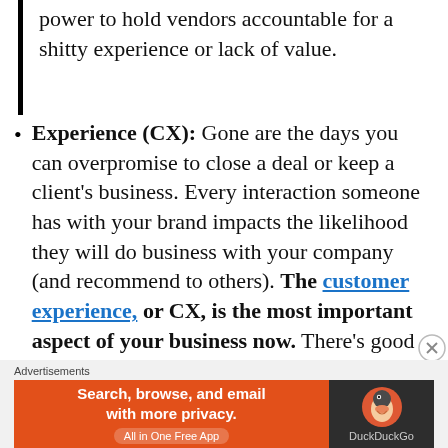power to hold vendors accountable for a shitty experience or lack of value.
Experience (CX): Gone are the days you can overpromise to close a deal or keep a client's business. Every interaction someone has with your brand impacts the likelihood they will do business with your company (and recommend to others). The customer experience, or CX, is the most important aspect of your business now. There's good news too: it's within your control.
Advertisements
[Figure (other): DuckDuckGo advertisement banner: 'Search, browse, and email with more privacy. All in One Free App' with DuckDuckGo logo on dark background.]